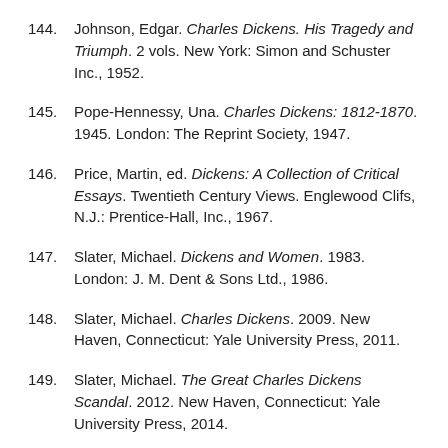144. Johnson, Edgar. Charles Dickens. His Tragedy and Triumph. 2 vols. New York: Simon and Schuster Inc., 1952.
145. Pope-Hennessy, Una. Charles Dickens: 1812-1870. 1945. London: The Reprint Society, 1947.
146. Price, Martin, ed. Dickens: A Collection of Critical Essays. Twentieth Century Views. Englewood Clifs, N.J.: Prentice-Hall, Inc., 1967.
147. Slater, Michael. Dickens and Women. 1983. London: J. M. Dent & Sons Ltd., 1986.
148. Slater, Michael. Charles Dickens. 2009. New Haven, Connecticut: Yale University Press, 2011.
149. Slater, Michael. The Great Charles Dickens Scandal. 2012. New Haven, Connecticut: Yale University Press, 2014.